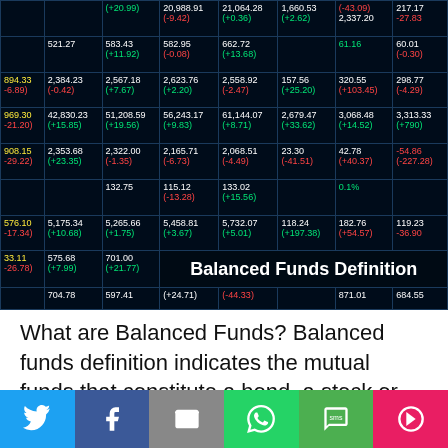[Figure (photo): Stock market ticker board showing various financial numbers in green, red, white and yellow on dark background with 'Balanced Funds Definition' overlay text]
What are Balanced Funds? Balanced funds definition indicates the mutual funds that constitute a bond, a stock or often a money market component in an individual portfolio...
[Figure (infographic): Social sharing bar with Twitter, Facebook, Email, WhatsApp, SMS, and More buttons]